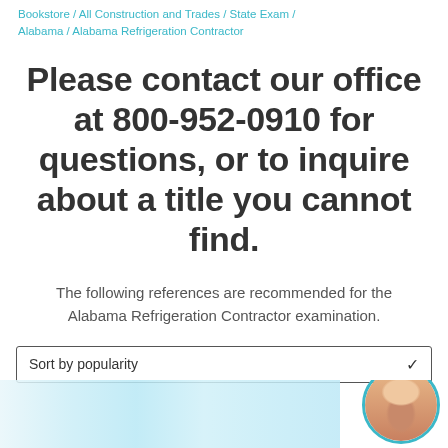Bookstore / All Construction and Trades / State Exam / Alabama / Alabama Refrigeration Contractor
Please contact our office at 800-952-0910 for questions, or to inquire about a title you cannot find.
The following references are recommended for the Alabama Refrigeration Contractor examination.
Sort by popularity
[Figure (screenshot): Bottom strip showing a blurred product image on the left and a customer service representative avatar on the right with a teal circular border]